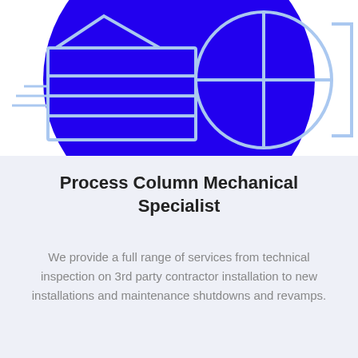[Figure (illustration): Abstract engineering/industrial illustration: large blue circle on white background with geometric shapes overlaid in light blue outlines — a rectangular box on the left, multiple horizontal lines, a globe/sphere with crosshairs in the center-right, and angular bracket shapes on the right side.]
Process Column Mechanical Specialist
We provide a full range of services from technical inspection on 3rd party contractor installation to new installations and maintenance shutdowns and revamps.